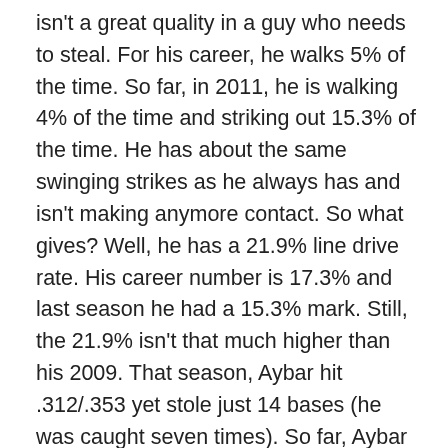isn't a great quality in a guy who needs to steal. For his career, he walks 5% of the time. So far, in 2011, he is walking 4% of the time and striking out 15.3% of the time. He has about the same swinging strikes as he always has and isn't making anymore contact. So what gives? Well, he has a 21.9% line drive rate. His career number is 17.3% and last season he had a 15.3% mark. Still, the 21.9% isn't that much higher than his 2009. That season, Aybar hit .312/.353 yet stole just 14 bases (he was caught seven times). So far, Aybar is 10/10 in steals. That won't continue and neither will his .384 average on balls in play. Aybar's average and OBP will come down and with it his stolen base pace. I think he could be a .300 hitter, but without any walks he won't get on base more than 34% of the time. He'll also get caught stealing a bit, so he looks like a 25 steal guy to me. Suddenly, Aybar sounds a bit